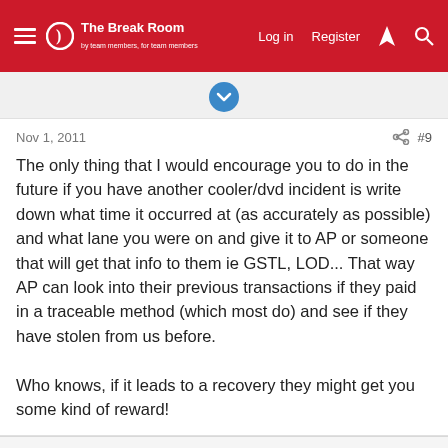The Break Room - Log in  Register
Nov 1, 2011  #9
The only thing that I would encourage you to do in the future if you have another cooler/dvd incident is write down what time it occurred at (as accurately as possible) and what lane you were on and give it to AP or someone that will get that info to them ie GSTL, LOD... That way AP can look into their previous transactions if they paid in a traceable method (which most do) and see if they have stolen from us before.

Who knows, if it leads to a recovery they might get you some kind of reward!
pzychopopgroove
cyberpunk//my little pony